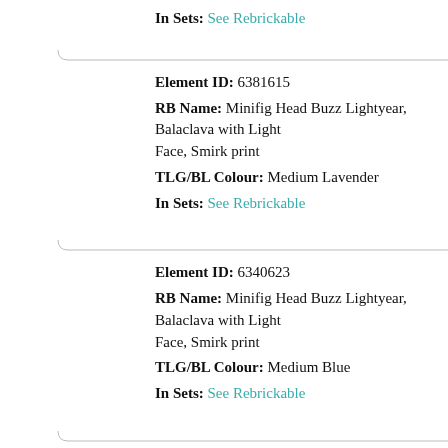In Sets: See Rebrickable
Element ID: 6381615
RB Name: Minifig Head Buzz Lightyear, Balaclava with Light Face, Smirk print
TLG/BL Colour: Medium Lavender
In Sets: See Rebrickable
Element ID: 6340623
RB Name: Minifig Head Buzz Lightyear, Balaclava with Light Face, Smirk print
TLG/BL Colour: Medium Blue
In Sets: See Rebrickable
Element ID: 6381620
RB Name: Minifig Head Izzy Hawthorne, Balaclava with Redd Face, Open Mouth Smile print